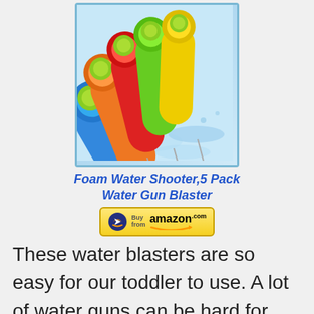[Figure (photo): Photo of foam water shooter blasters in multiple colors (blue, orange, red, green, yellow) with water splash background]
Foam Water Shooter,5 Pack Water Gun Blaster
[Figure (other): Buy from amazon.com button with Amazon logo and arrow]
These water blasters are so easy for our toddler to use. A lot of water guns can be hard for little hands to manage, but our little one does great with these. His older brother loves